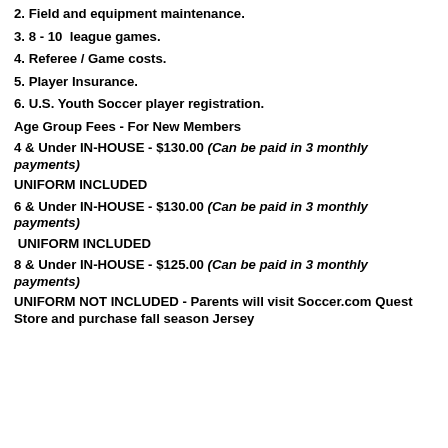2. Field and equipment maintenance.
3. 8 - 10  league games.
4. Referee / Game costs.
5. Player Insurance.
6. U.S. Youth Soccer player registration.
Age Group Fees - For New Members
4 & Under IN-HOUSE - $130.00 (Can be paid in 3 monthly payments)
UNIFORM INCLUDED
6 & Under IN-HOUSE - $130.00 (Can be paid in 3 monthly payments)
UNIFORM INCLUDED
8 & Under IN-HOUSE - $125.00 (Can be paid in 3 monthly payments)
UNIFORM NOT INCLUDED - Parents will visit Soccer.com Quest Store and purchase fall season Jersey